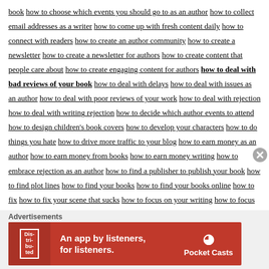book how to choose which events you should go to as an author how to collect email addresses as a writer how to come up with fresh content daily how to connect with readers how to create an author community how to create a newsletter how to create a newsletter for authors how to create content that people care about how to create engaging content for authors how to deal with bad reviews of your book how to deal with delays how to deal with issues as an author how to deal with poor reviews of your work how to deal with rejection how to deal with writing rejection how to decide which author events to attend how to design children's book covers how to develop your characters how to do things you hate how to drive more traffic to your blog how to earn money as an author how to earn money from books how to earn money writing how to embrace rejection as an author how to find a publisher to publish your book how to find plot lines how to find your books how to find your books online how to fix how to fix your scene that sucks how to focus on your writing how to focus your energies How to get a book published how to get a publishing deal how to get a traditional publishing contract how to get book reviews how to get excited how to get inside
[Figure (other): Advertisement banner for Pocket Casts app. Red background with white text reading 'An app by listeners, for listeners.' with Pocket Casts logo and a phone image showing 'Distributed' text.]